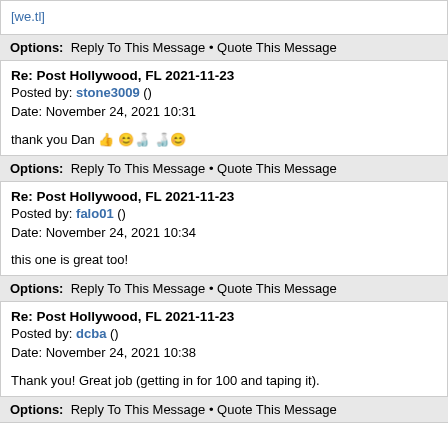[we.tl]
Options: Reply To This Message • Quote This Message
Re: Post Hollywood, FL 2021-11-23
Posted by: stone3009 ()
Date: November 24, 2021 10:31
thank you Dan 👍 😊🍺 🍺😊
Options: Reply To This Message • Quote This Message
Re: Post Hollywood, FL 2021-11-23
Posted by: falo01 ()
Date: November 24, 2021 10:34
this one is great too!
Options: Reply To This Message • Quote This Message
Re: Post Hollywood, FL 2021-11-23
Posted by: dcba ()
Date: November 24, 2021 10:38
Thank you! Great job (getting in for 100 and taping it).
Options: Reply To This Message • Quote This Message